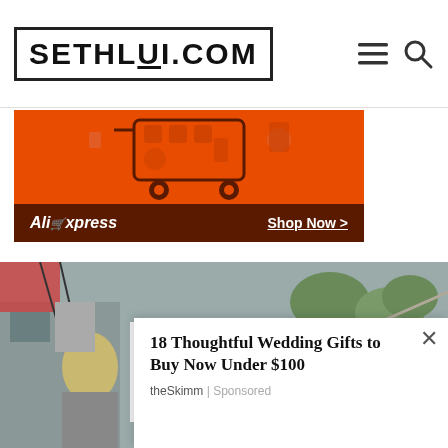SETHLUI.COM
[Figure (screenshot): AliExpress advertisement banner with orange background, shopping cart with icons, and dark red bottom bar with 'AliExpress' logo and 'Shop Now >' button]
[Figure (photo): Outdoor food fair scene with 'Forgotten Food' sign — red circle logo and bold red text on white banner, people in background including person with blonde hair and person in foreground, trees and structures visible]
18 Thoughtful Wedding Gifts to Buy Now Under $100
theSkimm | Sponsored